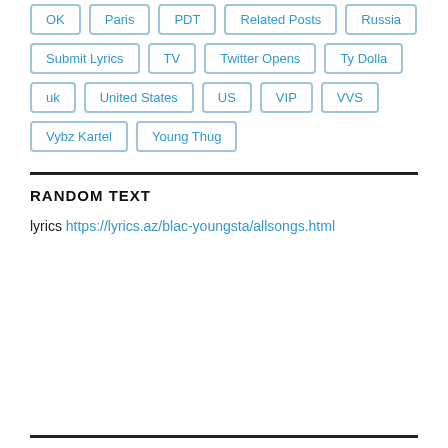OK
Paris
PDT
Related Posts
Russia
Submit Lyrics
TV
Twitter Opens
Ty Dolla
uk
United States
US
VIP
VVS
Vybz Kartel
Young Thug
RANDOM TEXT
lyrics https://lyrics.az/blac-youngsta/allsongs.html